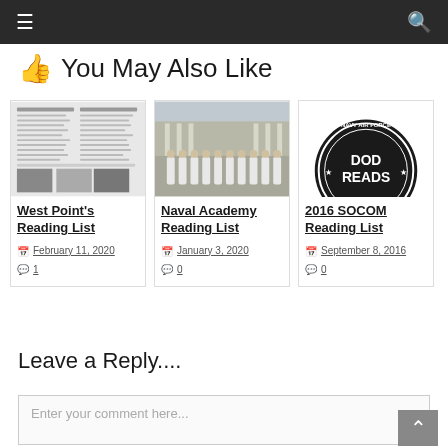Navigation bar with hamburger menu and search icon
👍 You May Also Like
[Figure (screenshot): Thumbnail of West Point's Reading List document page]
West Point's Reading List
February 11, 2020  💬 1
[Figure (photo): Naval Academy cadets marching in formation in white uniforms]
Naval Academy Reading List
January 3, 2020  💬 0
[Figure (logo): DOD Reads circular badge logo - Army Navy Air Force USMC Supplying DOD Readers]
2016 SOCOM Reading List
September 8, 2016  💬 0
Leave a Reply....
Enter your comment here...